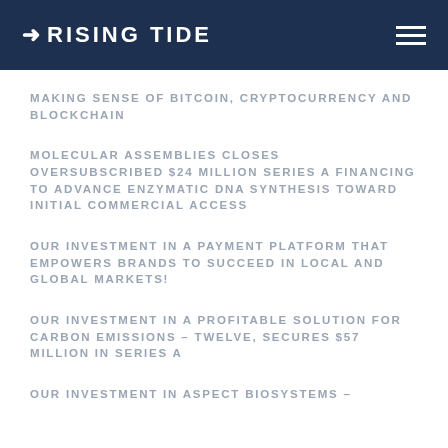RISING TIDE
MAKING SENSE OF BITCOIN, CRYPTOCURRENCY AND BLOCKCHAIN
MOLECULAR ASSEMBLIES CLOSES OVERSUBSCRIBED $24 MILLION SERIES A FINANCING TO ADVANCE ENZYMATIC DNA SYNTHESIS TOWARD INITIAL COMMERCIAL ACCESS
OUR INVESTMENT IN A PAYMENT PLATFORM THAT EMPOWERS BRANDS TO SUCCEED IN LOCAL AND GLOBAL MARKETS!
OUR INVESTMENT IN A PROFITABLE SOLUTION FOR CARBON EMISSIONS – TWELVE, SECURES $57 MILLION IN SERIES A
OUR INVESTMENT IN ASPECT BIOSYSTEMS –